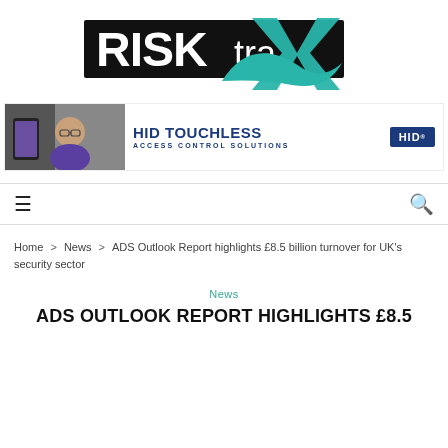[Figure (logo): RISKXtra logo — white text on black background with teal X graphic]
[Figure (photo): HID Touchless Access Control Solutions banner ad with photo of man with glasses on smartphone and HID logo]
[Figure (infographic): Navigation bar with hamburger menu icon and search icon]
Home > News > ADS Outlook Report highlights £8.5 billion turnover for UK's security sector
News
ADS OUTLOOK REPORT HIGHLIGHTS £8.5